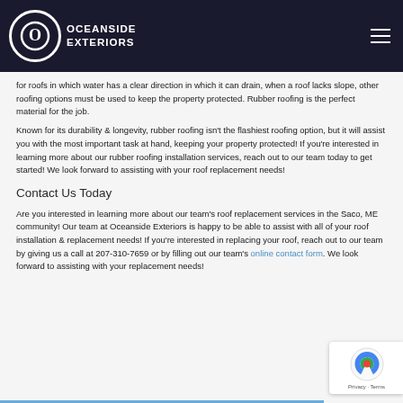Oceanside Exteriors
for roofs in which water has a clear direction in which it can drain, when a roof lacks slope, other roofing options must be used to keep the property protected. Rubber roofing is the perfect material for the job.
Known for its durability & longevity, rubber roofing isn't the flashiest roofing option, but it will assist you with the most important task at hand, keeping your property protected! If you're interested in learning more about our rubber roofing installation services, reach out to our team today to get started! We look forward to assisting with your roof replacement needs!
Contact Us Today
Are you interested in learning more about our team's roof replacement services in the Saco, ME community! Our team at Oceanside Exteriors is happy to be able to assist with all of your roof installation & replacement needs! If you're interested in replacing your roof, reach out to our team by giving us a call at 207-310-7659 or by filling out our team's online contact form. We look forward to assisting with your replacement needs!